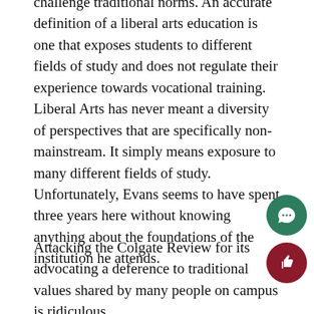challenge traditional norms. An accurate definition of a liberal arts education is one that exposes students to different fields of study and does not regulate their experience towards vocational training. Liberal Arts has never meant a diversity of perspectives that are specifically non-mainstream. It simply means exposure to many different fields of study. Unfortunately, Evans seems to have spent three years here without knowing anything about the foundations of the institution he attends.
Attacking the Colgate Review for its advocating a deference to traditional values shared by many people on campus is ridiculous.
More problematic than conservatives speaking openly is that Colgate funds are spent on activities such as performances of “The Vagina Monologues,” a play that not only glorifies the drunken rape of a 14-year-old girl by an older woman, but also teaches women that the best way to be empowered